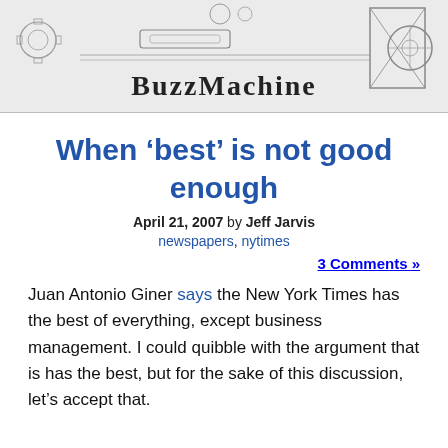[Figure (illustration): BuzzMachine website header banner with vintage industrial machinery engravings and the text 'BuzzMachine' in large serif font]
When ‘best’ is not good enough
April 21, 2007 by Jeff Jarvis
newspapers, nytimes
3 Comments »
Juan Antonio Giner says the New York Times has the best of everything, except business management. I could quibble with the argument that is has the best, but for the sake of this discussion, let’s accept that.